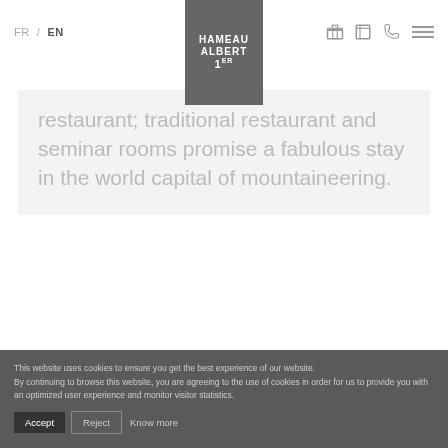FR / EN — Hameau Albert 1er logo — icons: gift, book, phone, menu
restaurant; traditional restaurant and seminar rooms promise a fabulous stay in the world capital of mountaineering.
This website uses cookies to ensure you get the best experience of our website. By continuing to browse this website, you are agreeing to the use of cookies in order for us to provide you with an optimized user experience and monitor visitor statistics.
Accept  Reject  Know more